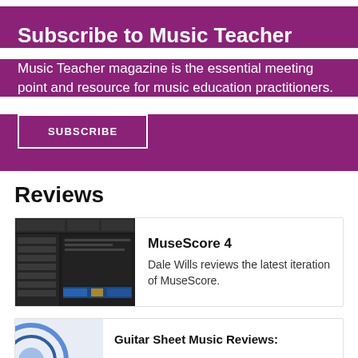Subscribe to Music Teacher
Music Teacher magazine is the essential meeting point and resource for music education practitioners.
SUBSCRIBE
Reviews
[Figure (screenshot): Screenshot of MuseScore 4 software interface showing dark theme UI with menu panels]
MuseScore 4
Dale Wills reviews the latest iteration of MuseScore.
[Figure (photo): Partial circular logo image, appears to be a music-related website or publication logo]
Guitar Sheet Music Reviews: